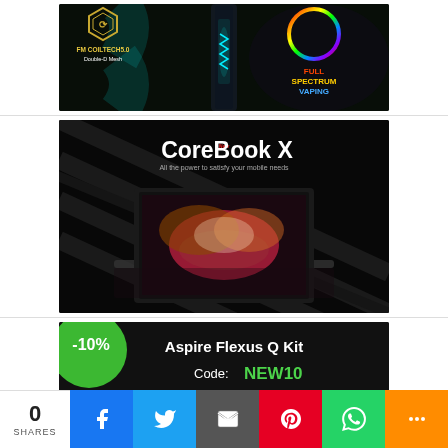[Figure (photo): Advertisement banner for a vaping device: FM COILTECH5.0 Double-D Mesh with Full Spectrum Vaping text, dark background with neon green/cyan highlights and a rainbow spectrum circle logo]
[Figure (photo): Advertisement banner for CoreBook X laptop: dark background with diagonal stripe texture, laptop open showing colorful abstract display, text 'New CoreBook X - All the power to satisfy your mobile needs']
[Figure (photo): Advertisement banner for Aspire Flexus Q Kit with green circle badge showing -10% discount, Code: NEW10 in green text]
0
SHARES